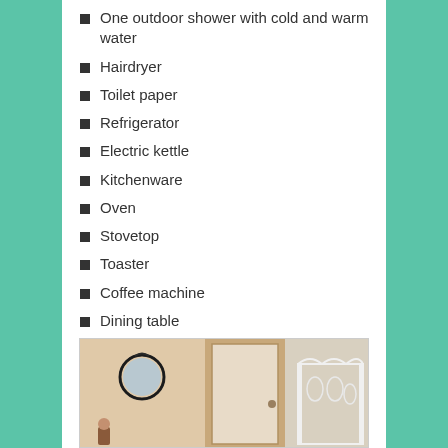One outdoor shower with cold and warm water
Hairdryer
Toilet paper
Refrigerator
Electric kettle
Kitchenware
Oven
Stovetop
Toaster
Coffee machine
Dining table
Outdoor dining area
Towels, Linens
Upper floor accessible by stairs only.
[Figure (photo): Interior room photo showing a white door, a round decorative mirror on the wall, and a white ornate bed frame on the right side.]